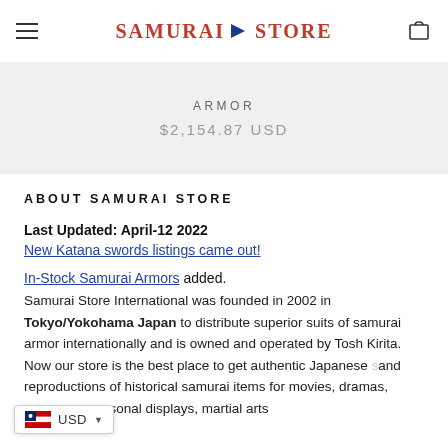SAMURAI STORE
ARMOR
$2,154.87 USD
ABOUT SAMURAI STORE
Last Updated: April-12 2022
New Katana swords listings came out!
In-Stock Samurai Armors added.
Samurai Store International was founded in 2002 in Tokyo/Yokohama Japan to distribute superior suits of samurai armor internationally and is owned and operated by Tosh Kirita. Now our store is the best place to get authentic Japanese and reproductions of historical samurai items for movies, dramas, museums, personal displays, martial arts